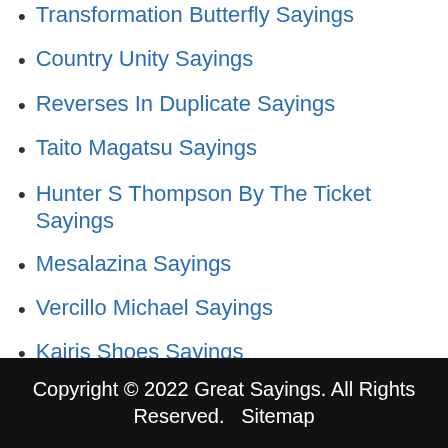Transformation Butterfly Sayings
Country Unity Sayings
Reverses In Duplicate Sayings
Taito Magatsu Sayings
Hunter S Thompson By The Ticket Sayings
Mesalazina Sayings
Vercillo Michael Sayings
Kairis Shoes Sayings
Copyright © 2022 Great Sayings. All Rights Reserved. Sitemap